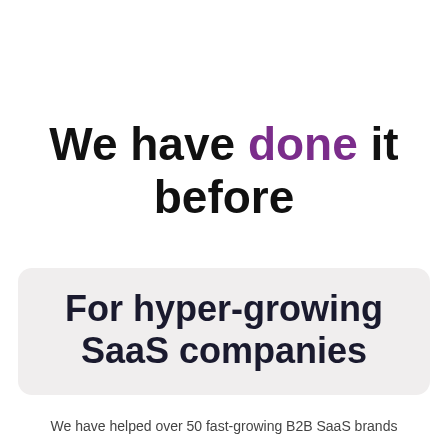We have done it before
For hyper-growing SaaS companies
We have helped over 50 fast-growing B2B SaaS brands